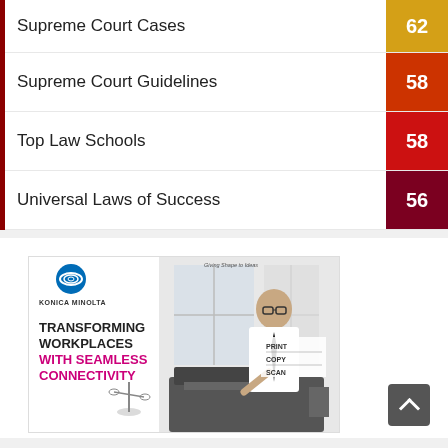Supreme Court Cases — 62
Supreme Court Guidelines — 58
Top Law Schools — 58
Universal Laws of Success — 56
[Figure (photo): Konica Minolta advertisement: 'Transforming Workplaces with Seamless Connectivity' showing a business professional at a multifunction printer. Text: PRINT COPY SCAN. Logo and tagline 'Giving Shape to Ideas'.]